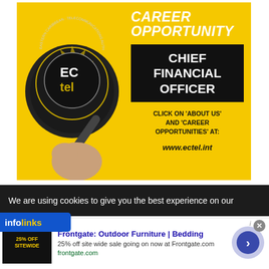[Figure (illustration): ECTEL (Eastern Caribbean Telecommunications Authority) career opportunity advertisement on yellow background. Shows a hand holding a magnifying glass with the ECTEL logo. Text reads: CAREER OPPORTUNITY, CHIEF FINANCIAL OFFICER, CLICK ON 'ABOUT US' AND 'CAREER OPPORTUNITIES' AT: www.ectel.int]
We are using cookies to give you the best experience on our
[Figure (logo): infolinks logo badge in blue]
[Figure (screenshot): Frontgate advertisement: Outdoor Furniture | Bedding. 25% off site wide sale going on now at Frontgate.com. frontgate.com. Shows a dark thumbnail with '25% OFF SITEWIDE' text.]